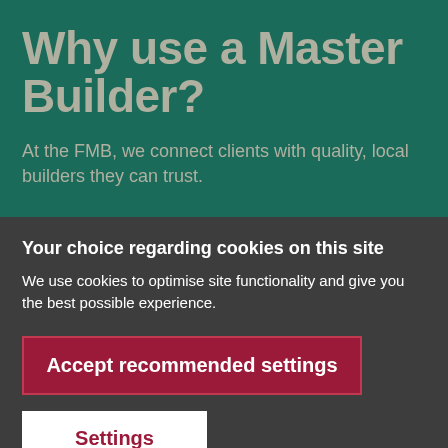Why use a Master Builder?
At the FMB, we connect clients with quality, local builders they can trust.
Your choice regarding cookies on this site
We use cookies to optimise site functionality and give you the best possible experience.
Accept recommended settings
Settings